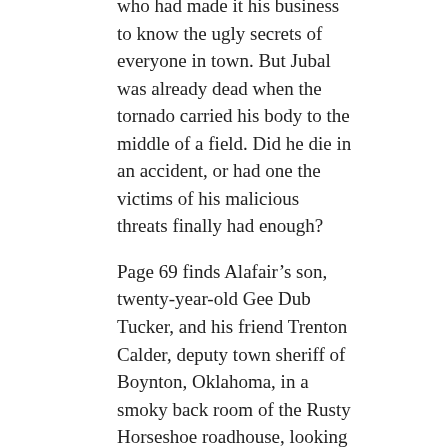who had made it his business to know the ugly secrets of everyone in town. But Jubal was already dead when the tornado carried his body to the middle of a field. Did he die in an accident, or had one the victims of his malicious threats finally had enough?
Page 69 finds Alafair's son, twenty-year-old Gee Dub Tucker, and his friend Trenton Calder, deputy town sheriff of Boynton, Oklahoma, in a smoky back room of the Rusty Horseshoe roadhouse, looking for Gee Dub's brother-in-law Walter, who is about to become a father. They are hardly thrilled to find Jubal Beldon at the Rusty Horseshoe as well. True to form, has something to say to the boys that they don't want to hear. Gee Dub takes exception to Beldon's remark, and it looks like trouble is brewing...
Trent stepped between them. “I didn’t come here to arrest anybody but I’ll reconsider that policy if you don’t shut up, Beldon. Come on, Gee Dub.”